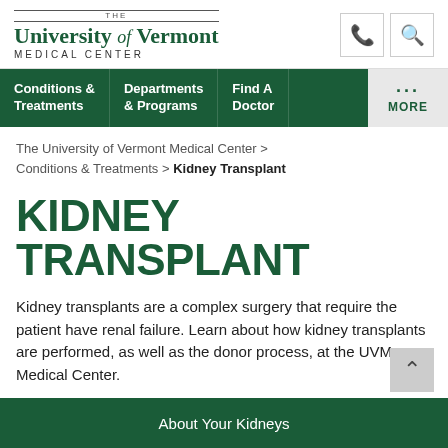[Figure (logo): The University of Vermont Medical Center logo with phone and search icons]
Conditions & Treatments | Departments & Programs | Find A Doctor | MORE
The University of Vermont Medical Center > Conditions & Treatments > Kidney Transplant
KIDNEY TRANSPLANT
Kidney transplants are a complex surgery that require the patient have renal failure. Learn about how kidney transplants are performed, as well as the donor process, at the UVM Medical Center.
About Your Kidneys